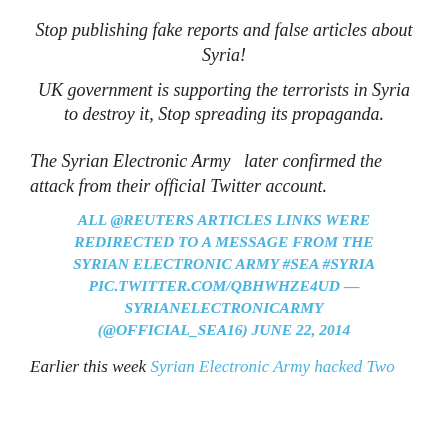Stop publishing fake reports and false articles about Syria!
UK government is supporting the terrorists in Syria to destroy it, Stop spreading its propaganda.
The Syrian Electronic Army  later confirmed the attack from their official Twitter account.
ALL @REUTERS ARTICLES LINKS WERE REDIRECTED TO A MESSAGE FROM THE SYRIAN ELECTRONIC ARMY #SEA #SYRIA PIC.TWITTER.COM/QBHWHZE4UD — SYRIANELECTRONICARMY (@OFFICIAL_SEA16) JUNE 22, 2014
Earlier this week Syrian Electronic Army hacked Two